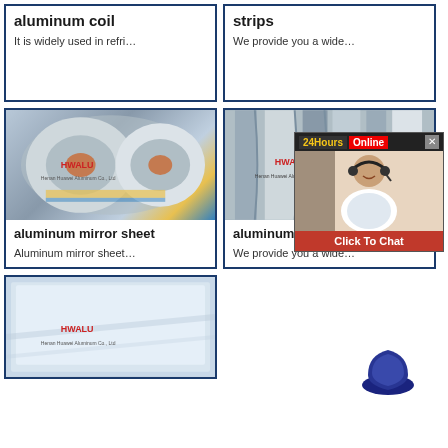aluminum coil
It is widely used in refri…
strips
We provide you a wide…
[Figure (photo): Photo of aluminum coil rolls with HWALU branding, Henan Huawei Aluminum Co., Ltd]
aluminum mirror sheet
Aluminum mirror sheet…
[Figure (photo): Photo of aluminum strips with HWALU branding, Henan Huawei Aluminum]
aluminum strip for ppr
We provide you a wide…
[Figure (photo): Photo of aluminum sheet with HWALU branding, Henan Huawei Aluminum Co., Ltd]